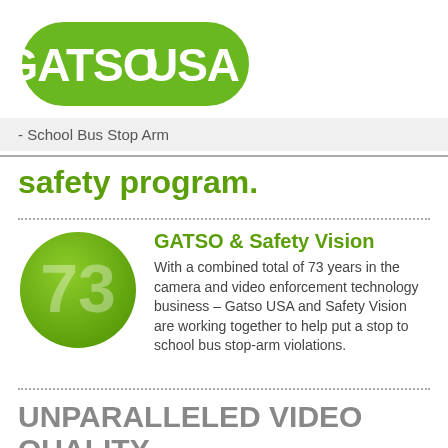[Figure (logo): GATSO USA logo — green rounded rectangle with white bold text GATSO on left and USA on right]
- School Bus Stop Arm
safety program.
GATSO & Safety Vision
With a combined total of 73 years in the camera and video enforcement technology business – Gatso USA and Safety Vision are working together to help put a stop to school bus stop-arm violations.
UNPARALLELED VIDEO QUALITY